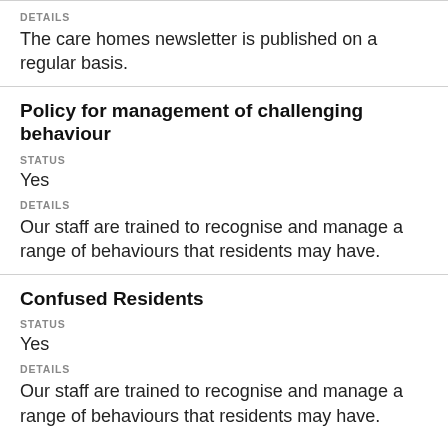DETAILS
The care homes newsletter is published on a regular basis.
Policy for management of challenging behaviour
STATUS
Yes
DETAILS
Our staff are trained to recognise and manage a range of behaviours that residents may have.
Confused Residents
STATUS
Yes
DETAILS
Our staff are trained to recognise and manage a range of behaviours that residents may have.